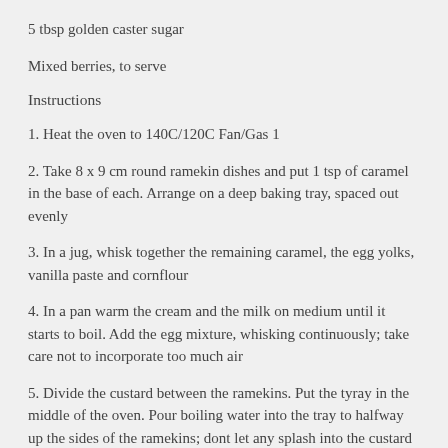5 tbsp golden caster sugar
Mixed berries, to serve
Instructions
1. Heat the oven to 140C/120C Fan/Gas 1
2. Take 8 x 9 cm round ramekin dishes and put 1 tsp of caramel in the base of each. Arrange on a deep baking tray, spaced out evenly
3. In a jug, whisk together the remaining caramel, the egg yolks, vanilla paste and cornflour
4. In a pan warm the cream and the milk on medium until it starts to boil. Add the egg mixture, whisking continuously; take care not to incorporate too much air
5. Divide the custard between the ramekins. Put the tyray in the middle of the oven. Pour boiling water into the tray to halfway up the sides of the ramekins; dont let any splash into the custard
6. Bake for 55 minutes to 1 hr, until just set. Allow to cool, then